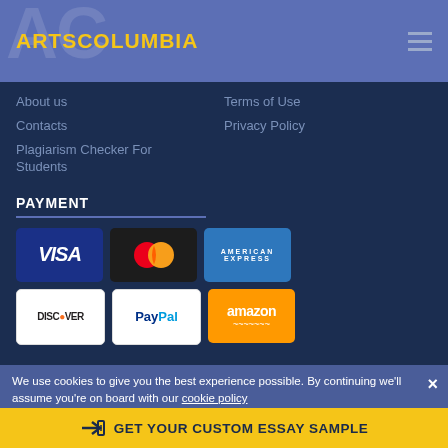ARTSCOLUMBIA
About us
Contacts
Plagiarism Checker For Students
Terms of Use
Privacy Policy
PAYMENT
[Figure (other): Payment method logos: Visa, Mastercard, American Express, Discover, PayPal, Amazon]
We use cookies to give you the best experience possible. By continuing we'll assume you're on board with our cookie policy
1035 Bigstone Road New York, NY 10004
GET YOUR CUSTOM ESSAY SAMPLE